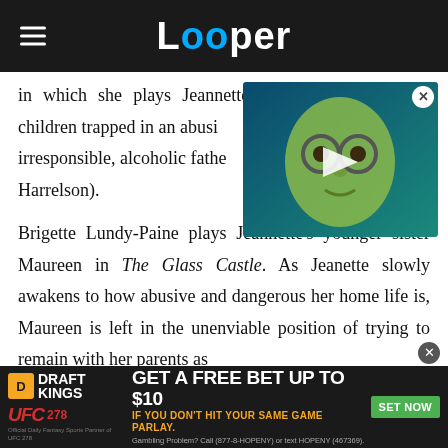Looper
in which she plays Jeannette Walls, one of several children trapped in an abusive, irresponsible, alcoholic father (Woody Harrelson).
[Figure (screenshot): Video thumbnail showing a green-tinted character with glasses, with a play button overlay]
Brigette Lundy-Paine plays Jeannette’s younger sister Maureen in The Glass Castle. As Jeanette slowly awakens to how abusive and dangerous her home life is, Maureen is left in the unenviable position of trying to remain with her parents as do all their brothers Brian (Jack Gore)
[Figure (infographic): Advertisement for DraftKings UFC 278 promotion: GET A FREE BET UP TO $10 IF YOU DON'T HIT YOUR SAME GAME PARLAY. SET NOW button. Gambling Problem? Call (877-8-HOPENY) or text HOPENY (467369).]